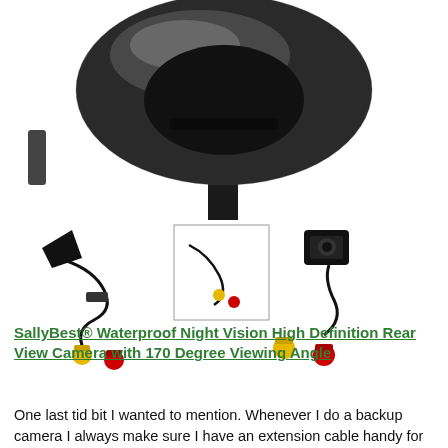[Figure (photo): Close-up of a car backup camera mount, metallic chrome/dark circular piece with a stem, cropped at top of page]
[Figure (photo): Product photos of a backup camera with black cable and yellow/red RCA connectors; includes a smaller inset thumbnail image of just the cable connectors; larger image on right shows camera unit with cables]
SallyBest® Waterproof Night Vision High Definition Rear View Camera with 170 Degree Viewing Angle
One last tid bit I wanted to mention. Whenever I do a backup camera I always make sure I have an extension cable handy for